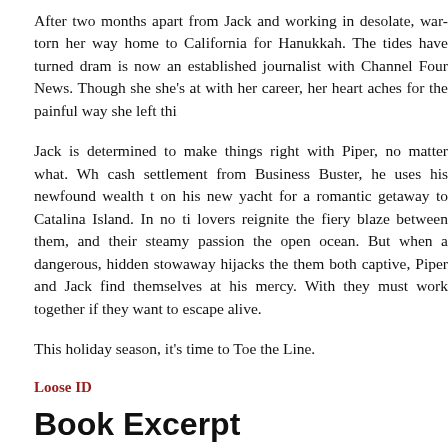After two months apart from Jack and working in desolate, war-torn her way home to California for Hanukkah. The tides have turned dram is now an established journalist with Channel Four News. Though she she's at with her career, her heart aches for the painful way she left thi
Jack is determined to make things right with Piper, no matter what. Wh cash settlement from Business Buster, he uses his newfound wealth t on his new yacht for a romantic getaway to Catalina Island. In no ti lovers reignite the fiery blaze between them, and their steamy passion the open ocean. But when a dangerous, hidden stowaway hijacks the them both captive, Piper and Jack find themselves at his mercy. With they must work together if they want to escape alive.
This holiday season, it's time to Toe the Line.
Loose ID
Book Excerpt
Jack made his way up to the deck and pushed the cushioned benc wheel and helm. He preferred to stand while he navigated, and he enj wind played on his face. He walked over to the dock pilings and cast